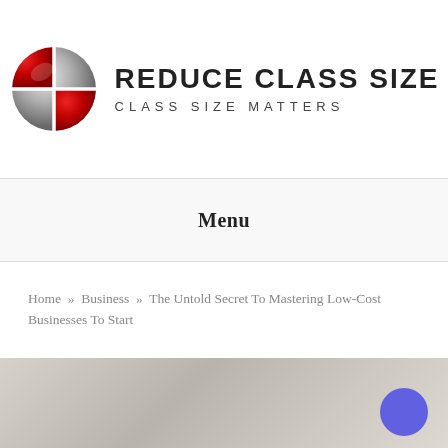[Figure (logo): Reduce Class Size / Class Size Matters logo with red and silver globe icon]
Menu
Home » Business » The Untold Secret To Mastering Low-Cost Businesses To Start
[Figure (photo): Partial photo of a whiteboard or desk surface, partially visible at the bottom of the page]